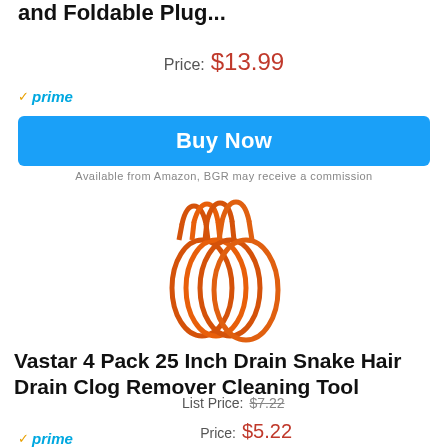and Foldable Plug...
Price: $13.99
✓prime
Buy Now
Available from Amazon, BGR may receive a commission
[Figure (photo): Four orange plastic drain snake hair clog remover tools coiled together showing the loop handles at the top]
Vastar 4 Pack 25 Inch Drain Snake Hair Drain Clog Remover Cleaning Tool
List Price: $7.22
Price: $5.22
You Save: $2.00 (28%)
✓prime